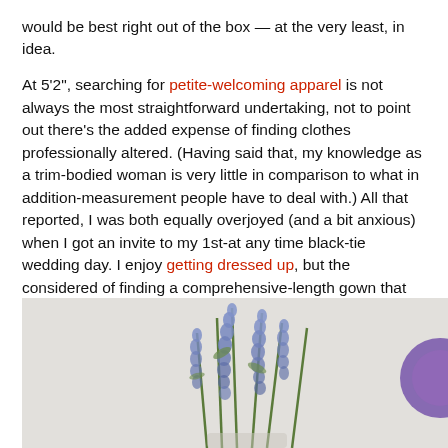would be best right out of the box — at the very least, in idea.
At 5'2", searching for petite-welcoming apparel is not always the most straightforward undertaking, not to point out there's the added expense of finding clothes professionally altered. (Having said that, my knowledge as a trim-bodied woman is very little in comparison to what in addition-measurement people have to deal with.) All that reported, I was both equally overjoyed (and a bit anxious) when I got an invite to my 1st-at any time black-tie wedding day. I enjoy getting dressed up, but the considered of finding a comprehensive-length gown that didn't make me look two toes tall felt complicated. Forward, be part of me as I test Fame & Associates for the initially (but, spoiler alert, unquestionably not past) time.
[Figure (photo): Photo of blue/purple delphinium flowers in a vase against a light background, with a purple flower partially visible on the right edge.]